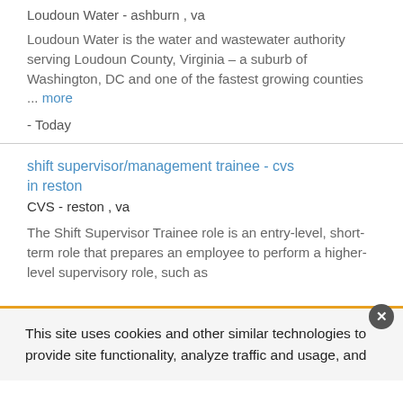Loudoun Water - ashburn , va
Loudoun Water is the water and wastewater authority serving Loudoun County, Virginia – a suburb of Washington, DC and one of the fastest growing counties ... more
- Today
shift supervisor/management trainee - cvs in reston
CVS - reston , va
The Shift Supervisor Trainee role is an entry-level, short-term role that prepares an employee to perform a higher-level supervisory role, such as
This site uses cookies and other similar technologies to provide site functionality, analyze traffic and usage, and